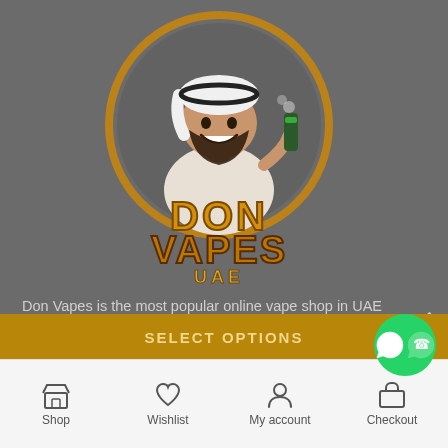[Figure (logo): Don Vapes UAE logo — cartoon character of a man in traditional UAE white thobe and headscarf, smiling with a beard, holding a vape device, inside a golden circular ring. Below the figure: stylized text 'DON VAPES UAE' in gold and orange 3D letters.]
Don Vapes is the most popular online vape shop in UAE with 5 physical vape shops, offering same-day delivery and free shipp for the widest range of Pod system kits, E-liquids, SaltNic,
SELECT OPTIONS
Shop | Wishlist | My account | Checkout